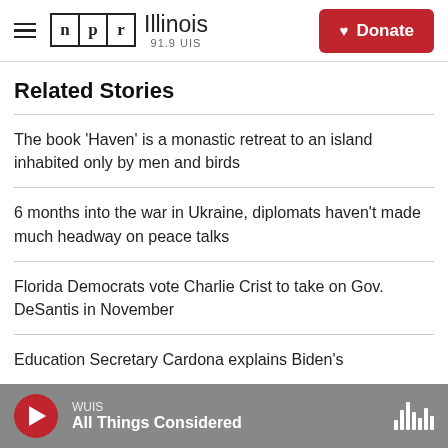NPR Illinois 91.9 UIS | Donate
Related Stories
The book 'Haven' is a monastic retreat to an island inhabited only by men and birds
6 months into the war in Ukraine, diplomats haven't made much headway on peace talks
Florida Democrats vote Charlie Crist to take on Gov. DeSantis in November
Education Secretary Cardona explains Biden's...
WUIS All Things Considered